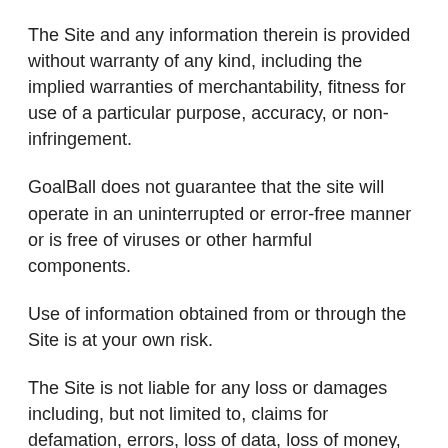The Site and any information therein is provided without warranty of any kind, including the implied warranties of merchantability, fitness for use of a particular purpose, accuracy, or non-infringement.
GoalBall does not guarantee that the site will operate in an uninterrupted or error-free manner or is free of viruses or other harmful components.
Use of information obtained from or through the Site is at your own risk.
The Site is not liable for any loss or damages including, but not limited to, claims for defamation, errors, loss of data, loss of money, or interruption in the availability of data arising out of the use or inability to use the Site or any links; to your placement of content on the Site; or to your reliance upon